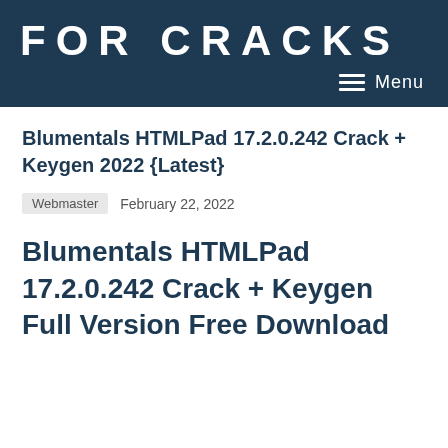FOR CRACKS
Blumentals HTMLPad 17.2.0.242 Crack + Keygen 2022 {Latest}
Webmaster  February 22, 2022
Blumentals HTMLPad 17.2.0.242 Crack + Keygen Full Version Free Download